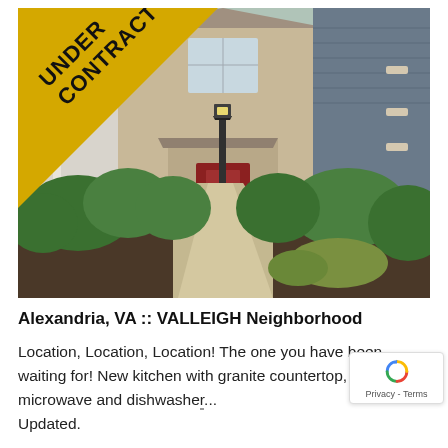[Figure (photo): Exterior photo of a townhouse with a walkway leading to a red front door, flanked by green shrubs and landscaping. A 'UNDER CONTRACT' banner is displayed diagonally in the upper-left corner over a yellow/gold triangle.]
Alexandria, VA :: VALLEIGH Neighborhood
Location, Location, Location! The one you have been waiting for! New kitchen with granite countertop, new microwave and dishwashe... Updated.